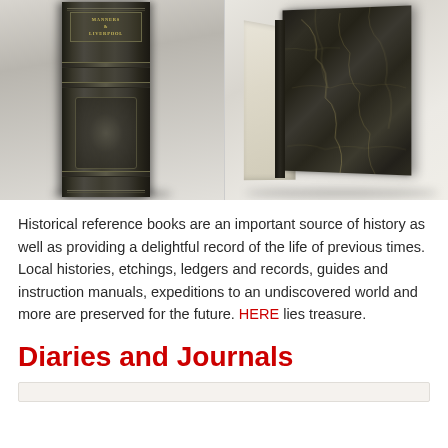[Figure (photo): Two photographs of antique/historical books side by side. Left photo shows the spine of a dark green/black embossed leather-bound book with decorative gilt lettering. Right photo shows a dark marbled-cover book opened or propped at an angle, showing its pages fanned out.]
Historical reference books are an important source of history as well as providing a delightful record of the life of previous times. Local histories, etchings, ledgers and records, guides and instruction manuals, expeditions to an undiscovered world and more are preserved for the future. HERE lies treasure.
Diaries and Journals